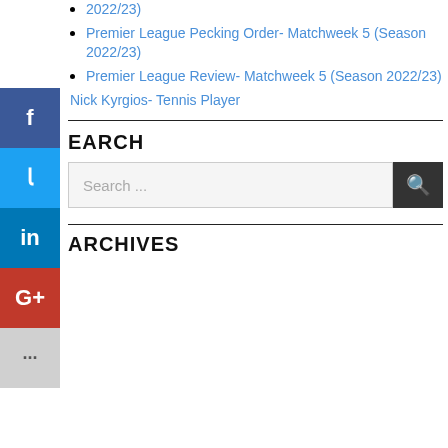2022/23)
Premier League Pecking Order- Matchweek 5 (Season 2022/23)
Premier League Review- Matchweek 5 (Season 2022/23)
Nick Kyrgios- Tennis Player
SEARCH
Search ...
ARCHIVES